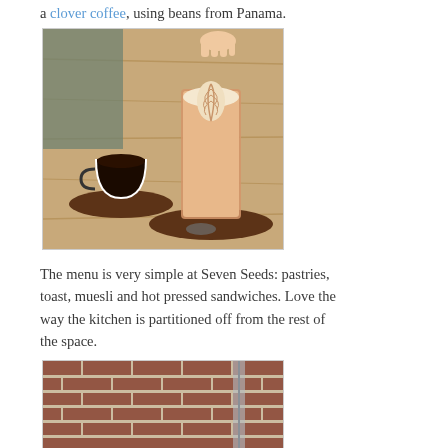a clover coffee, using beans from Panama.
[Figure (photo): Two coffee drinks on a wooden table: a small dark coffee in a white cup on a brown saucer (left), and a tall latte with leaf latte art in a glass on a brown saucer (right). A hand is visible at the top reaching toward the drinks.]
The menu is very simple at Seven Seeds: pastries, toast, muesli and hot pressed sandwiches. Love the way the kitchen is partitioned off from the rest of the space.
[Figure (photo): Interior photo of what appears to be a cafe with exposed brick walls and industrial-style partitioning.]